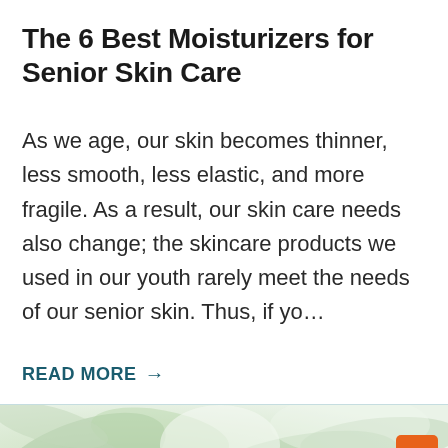The 6 Best Moisturizers for Senior Skin Care
As we age, our skin becomes thinner, less smooth, less elastic, and more fragile. As a result, our skin care needs also change; the skincare products we used in our youth rarely meet the needs of our senior skin. Thus, if yo…
READ MORE →
[Figure (photo): Close-up blurred photo of green plant leaves with soft white and green tones, with an orange 'back to top' button in the bottom right corner]